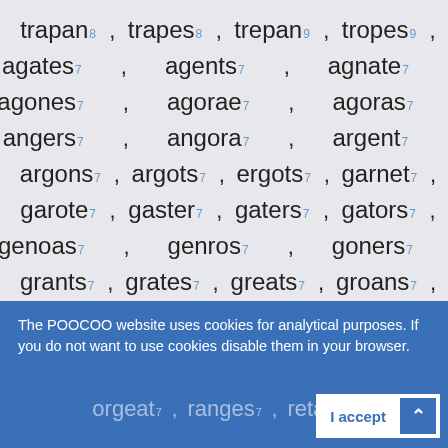trapan 8, trapes 8, trepan 9, tropes 9,
agates 7, agents 7, agnate 7,
agones 7, agorae 7, agoras 7,
angers 7, angora 7, argent 7,
argons 7, argots 7, ergots 7, garnet 7,
garote 7, gaster 7, gaters 7, gators 7,
genoas 7, genros 7, goners 7,
grants 7, grates 7, greats 7, groans 7,
groats 7, onager 7, orange 7,
The POOCOO website uses cookies for analytical purposes. If you do not want to use cookies disable them in your browser.
orgeat 7, ranges 7, retags 7, snooan 7,
sanger, sarong, stano,